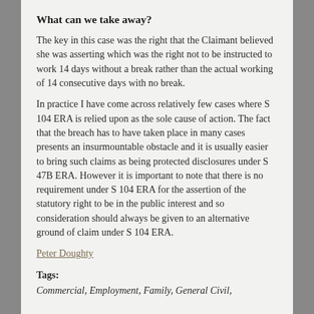What can we take away?
The key in this case was the right that the Claimant believed she was asserting which was the right not to be instructed to work 14 days without a break rather than the actual working of 14 consecutive days with no break.
In practice I have come across relatively few cases where S 104 ERA is relied upon as the sole cause of action. The fact that the breach has to have taken place in many cases presents an insurmountable obstacle and it is usually easier to bring such claims as being protected disclosures under S 47B ERA. However it is important to note that there is no requirement under S 104 ERA for the assertion of the statutory right to be in the public interest and so consideration should always be given to an alternative ground of claim under S 104 ERA.
Peter Doughty
Tags:
Commercial, Employment, Family, General Civil,